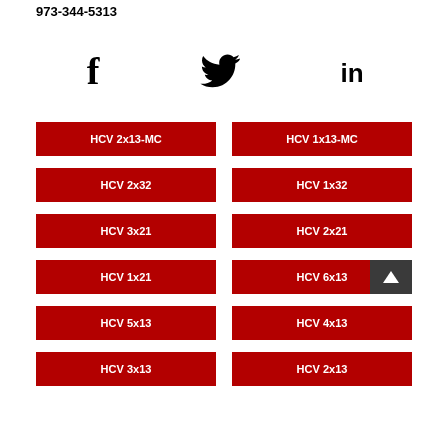973-344-5313
[Figure (infographic): Social media icons: Facebook (f), Twitter (bird), LinkedIn (in)]
HCV 2x13-MC
HCV 1x13-MC
HCV 2x32
HCV 1x32
HCV 3x21
HCV 2x21
HCV 1x21
HCV 6x13
HCV 5x13
HCV 4x13
HCV 3x13
HCV 2x13